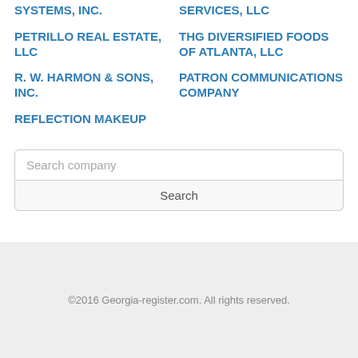SYSTEMS, INC.
SERVICES, LLC
PETRILLO REAL ESTATE, LLC
THG DIVERSIFIED FOODS OF ATLANTA, LLC
R. W. HARMON & SONS, INC.
PATRON COMMUNICATIONS COMPANY
REFLECTION MAKEUP
Search company
Search
©2016 Georgia-register.com. All rights reserved.